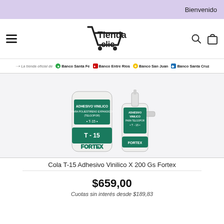Bienvenido
[Figure (logo): Tienda Clic shopping cart logo — black cart icon with 'Tienda clic' text]
La tienda oficial de   Banco Santa Fe   Banco Entre Rios   Banco San Juan   Banco Santa Cruz
[Figure (photo): Two bottles of Fortex T-15 Adhesivo Vinilico (vinyl adhesive for expanded polystyrene / telgopor), one large and one small with nozzle, white bottles with green label]
Cola T-15 Adhesivo Vinilico X 200 Gs Fortex
$659,00
Cuotas sin interés desde $189,83